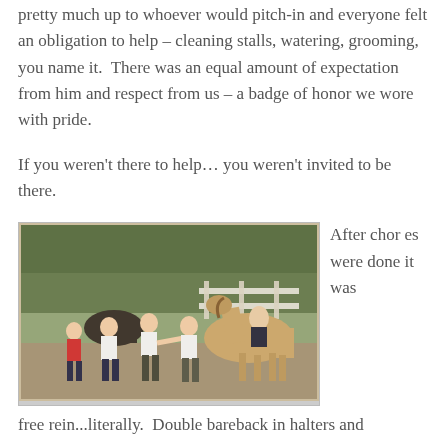pretty much up to whoever would pitch-in and everyone felt an obligation to help – cleaning stalls, watering, grooming, you name it.  There was an equal amount of expectation from him and respect from us – a badge of honor we wore with pride.
If you weren't there to help… you weren't invited to be there.
[Figure (photo): A group of children and a teenager riding a horse outdoors near a white fence, with trees in the background. Multiple kids are posing and playing around.]
After chores were done it was
free rein...literally.  Double bareback in halters and